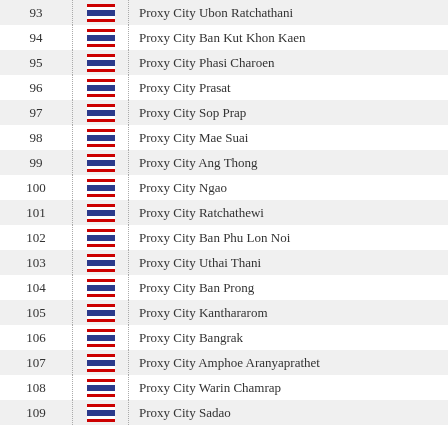| # | Flag | Location |
| --- | --- | --- |
| 93 | Thailand | Proxy City Ubon Ratchathani |
| 94 | Thailand | Proxy City Ban Kut Khon Kaen |
| 95 | Thailand | Proxy City Phasi Charoen |
| 96 | Thailand | Proxy City Prasat |
| 97 | Thailand | Proxy City Sop Prap |
| 98 | Thailand | Proxy City Mae Suai |
| 99 | Thailand | Proxy City Ang Thong |
| 100 | Thailand | Proxy City Ngao |
| 101 | Thailand | Proxy City Ratchathewi |
| 102 | Thailand | Proxy City Ban Phu Lon Noi |
| 103 | Thailand | Proxy City Uthai Thani |
| 104 | Thailand | Proxy City Ban Prong |
| 105 | Thailand | Proxy City Kanthararom |
| 106 | Thailand | Proxy City Bangrak |
| 107 | Thailand | Proxy City Amphoe Aranyaprathet |
| 108 | Thailand | Proxy City Warin Chamrap |
| 109 | Thailand | Proxy City Sadao |